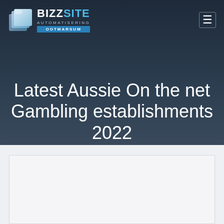BIZZSITE AUTOMATISERING OOTMARSUM
Latest Aussie On the net Gambling establishments 2022
Latest Aussie On